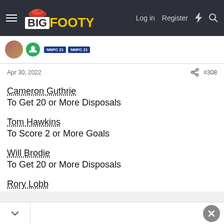BigFooty — Log in | Register
Apr 30, 2022  #308
Cameron Guthrie
To Get 20 or More Disposals
Tom Hawkins
To Score 2 or More Goals
Will Brodie
To Get 20 or More Disposals
Rory Lobb